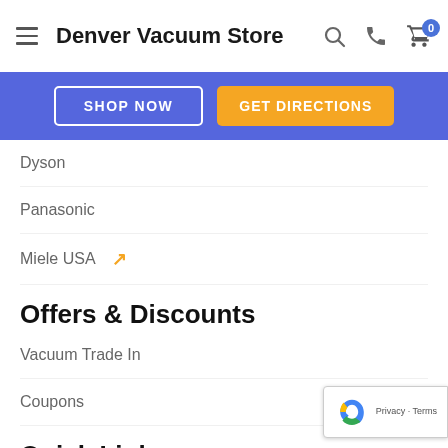Denver Vacuum Store
[Figure (screenshot): Blue banner with two buttons: SHOP NOW (white outline) and GET DIRECTIONS (orange)]
Dyson
Panasonic
Miele USA
Offers & Discounts
Vacuum Trade In
Coupons
Quick Links
Vacuum Repairs & Service
Sewing Machine Repair
Coffee Machine Repair